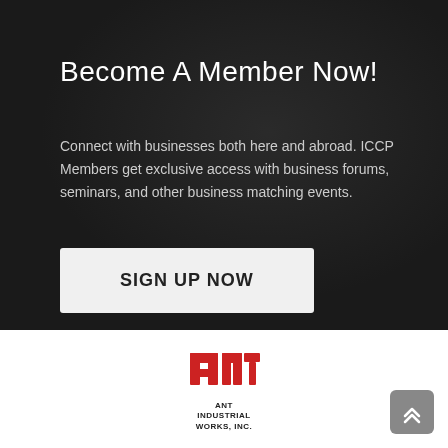Become A Member Now!
Connect with businesses both here and abroad. ICCP Members get exclusive access with business forums, seminars, and other business matching events.
SIGN UP NOW
[Figure (logo): ANT Industrial Works, Inc. logo — red stylized letters ANT above company name text]
[Figure (other): Grey rounded square button with upward double chevron arrow icon]